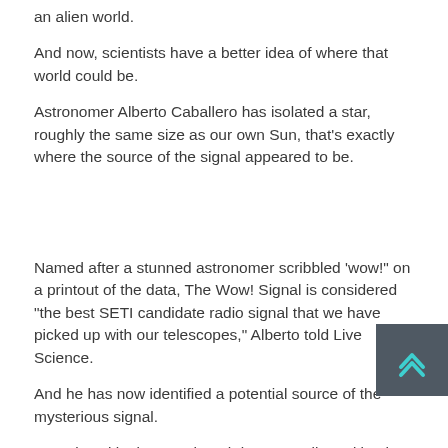an alien world.
And now, scientists have a better idea of where that world could be.
Astronomer Alberto Caballero has isolated a star, roughly the same size as our own Sun, that's exactly where the source of the signal appeared to be.
Named after a stunned astronomer scribbled 'wow!' on a printout of the data, The Wow! Signal is considered "the best SETI candidate radio signal that we have picked up with our telescopes," Alberto told Live Science.
And he has now identified a potential source of the mysterious signal.
He painstakingly went though images collected by the European